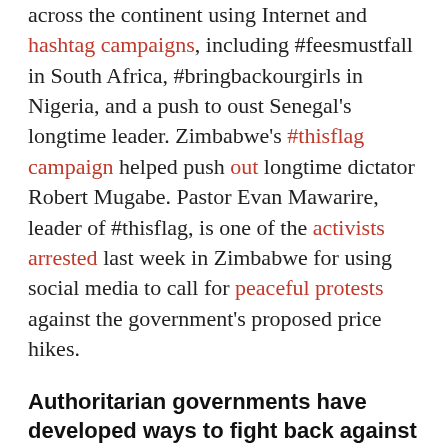across the continent using Internet and hashtag campaigns, including #feesmustfall in South Africa, #bringbackourgirls in Nigeria, and a push to oust Senegal's longtime leader. Zimbabwe's #thisflag campaign helped push out longtime dictator Robert Mugabe. Pastor Evan Mawarire, leader of #thisflag, is one of the activists arrested last week in Zimbabwe for using social media to call for peaceful protests against the government's proposed price hikes.
Authoritarian governments have developed ways to fight back against Internet freedoms
Meanwhile, academics and researchers who predicted that the Internet could challenge authoritarianism clearly underestimated how easily the Internet could be manipulated to bolster authoritarian survival.